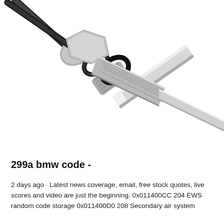[Figure (photo): A metallic cylindrical sensor or probe with a threaded body, black O-ring seal, and a long shiny stainless steel rod extending diagonally to the lower right. A black cable exits from the upper left connector.]
299a bmw code -
2 days ago · Latest news coverage, email, free stock quotes, live scores and video are just the beginning. 0x011400CC 204 EWS random code storage 0x011400D0 208 Secondary air system